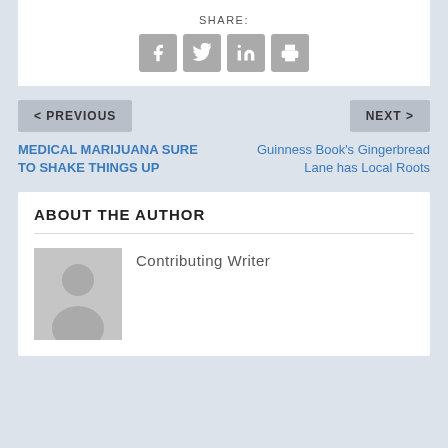SHARE:
[Figure (infographic): Social share icons: Facebook, Twitter, LinkedIn, Print]
< PREVIOUS
NEXT >
MEDICAL MARIJUANA SURE TO SHAKE THINGS UP
Guinness Book's Gingerbread Lane has Local Roots
ABOUT THE AUTHOR
[Figure (photo): Generic user avatar placeholder image]
Contributing Writer